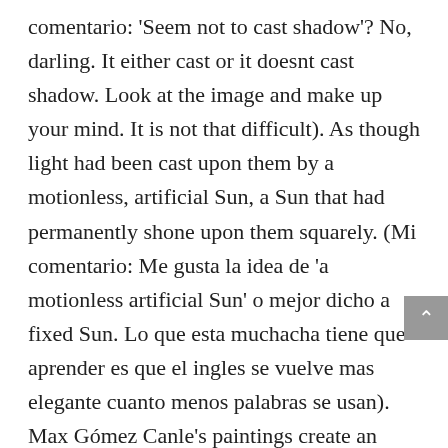comentario: 'Seem not to cast shadow'? No, darling. It either cast or it doesnt cast shadow. Look at the image and make up your mind. It is not that difficult). As though light had been cast upon them by a motionless, artificial Sun, a Sun that had permanently shone upon them squarely. (Mi comentario: Me gusta la idea de 'a motionless artificial Sun' o mejor dicho a fixed Sun. Lo que esta muchacha tiene que aprender es que el ingles se vuelve mas elegante cuanto menos palabras se usan). Max Gómez Canle's paintings create an experience akin to noticing a glitch in a video game: a well-functioning system will start firing out little indicators, unpredicted flashes that throw you off. But besides functioning as minor flaws discernible